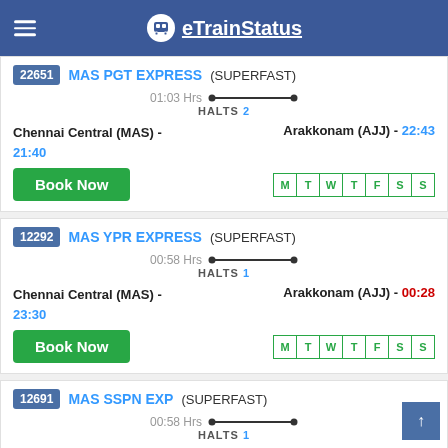eTrainStatus
22651 MAS PGT EXPRESS (SUPERFAST) — 01:03 Hrs HALTS 2 — Chennai Central (MAS) - 21:40, Arakkonam (AJJ) - 22:43
12292 MAS YPR EXPRESS (SUPERFAST) — 00:58 Hrs HALTS 1 — Chennai Central (MAS) - 23:30, Arakkonam (AJJ) - 00:28
12691 MAS SSPN EXP (SUPERFAST) — 00:58 Hrs HALTS 1 — Chennai Central (MAS), Arakkonam (AJJ) - 00:28